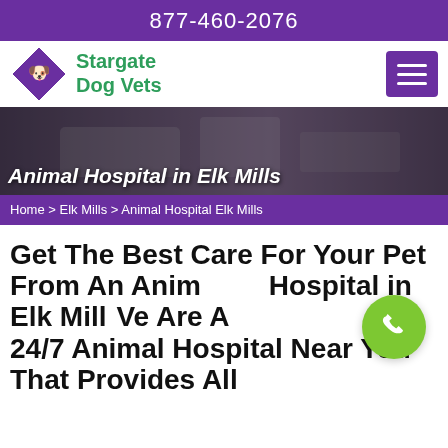877-460-2076
[Figure (logo): Stargate Dog Vets logo with purple diamond shape containing a dog illustration, green brand name text]
[Figure (photo): Hero banner showing hands working with a pet, dark overlay with text 'Animal Hospital in Elk Mills']
Animal Hospital in Elk Mills
Home > Elk Mills > Animal Hospital Elk Mills
Get The Best Care For Your Pet From An Animal Hospital in Elk Mills. We Are A 24/7 Animal Hospital Near You That Provides All Services. Pet...